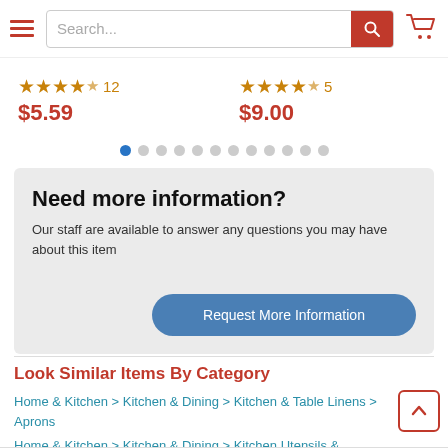[Figure (screenshot): Website header with hamburger menu, search bar, and shopping cart icon]
$5.59
$9.00
Need more information?
Our staff are available to answer any questions you may have about this item
Request More Information
Look Similar Items By Category
Home & Kitchen > Kitchen & Dining > Kitchen & Table Linens > Aprons
Home & Kitchen > Kitchen & Dining > Kitchen Utensils & Gadgets > Kitchen Accessories > Aprons